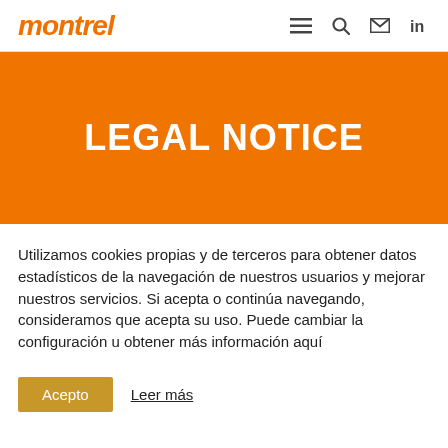montrel
LEGAL NOTICE
Utilizamos cookies propias y de terceros para obtener datos estadísticos de la navegación de nuestros usuarios y mejorar nuestros servicios. Si acepta o continúa navegando, consideramos que acepta su uso. Puede cambiar la configuración u obtener más información aquí
Acepto  Leer más